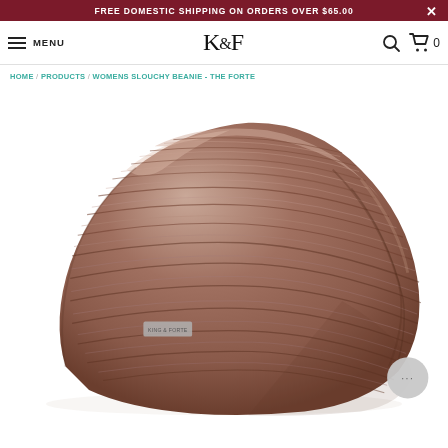FREE DOMESTIC SHIPPING ON ORDERS OVER $65.00
[Figure (screenshot): Website navigation bar with hamburger menu, MENU text, K&F logo, search icon, and cart icon showing 0 items]
HOME / PRODUCTS / WOMENS SLOUCHY BEANIE - THE FORTE
[Figure (photo): Product photo of a brown/mauve ribbed knit slouchy beanie hat (The Forte) displayed on a white background. The beanie has a King & Forte label tag visible on the side.]